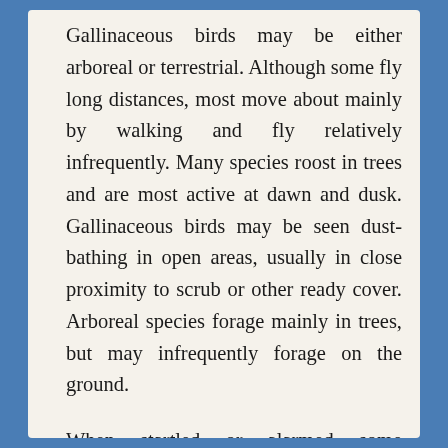Gallinaceous birds may be either arboreal or terrestrial. Although some fly long distances, most move about mainly by walking and fly relatively infrequently. Many species roost in trees and are most active at dawn and dusk. Gallinaceous birds may be seen dust-bathing in open areas, usually in close proximity to scrub or other ready cover. Arboreal species forage mainly in trees, but may infrequently forage on the ground.
When startled or alarmed some gallinaceous birds fly straight up into the air, then fly horizontally away from